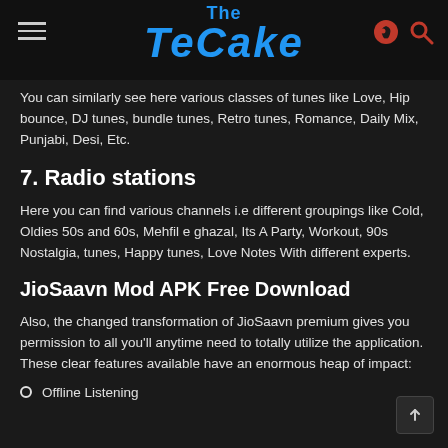The TeCake
You can similarly see here various classes of tunes like Love, Hip bounce, DJ tunes, bundle tunes, Retro tunes, Romance, Daily Mix, Punjabi, Desi, Etc.
7. Radio stations
Here you can find various channels i.e different groupings like Cold, Oldies 50s and 60s, Mehfil e ghazal, Its A Party, Workout, 90s Nostalgia, tunes, Happy tunes, Love Notes With different experts.
JioSaavn Mod APK Free Download
Also, the changed transformation of JioSaavn premium gives you permission to all you'll anytime need to totally utilize the application. These clear features available have an enormous heap of impact:
Offline Listening